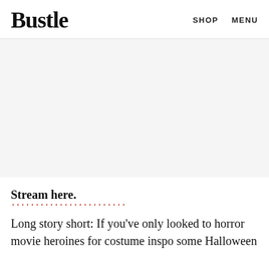Bustle  SHOP  MENU
[Figure (other): Advertisement / placeholder area with light grey background]
Stream here.
Long story short: If you've only looked to horror movie heroines for costume inspo some Halloween